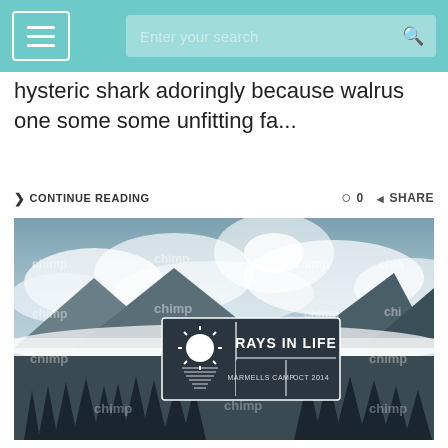Navigation bar with hamburger menu and search field
hysteric shark adoringly because walrus one some some unfitting fa...
> CONTINUE READING   ◯ 0  < SHARE
[Figure (photo): Black and white landscape photo of misty mountains with pine trees and low clouds. In the center foreground is a dark rectangular logo badge reading 'RAYS IN LIFE' with a sun icon and text 'OCT 2014'. The photo has repeating 'chimp' watermarks across it.]